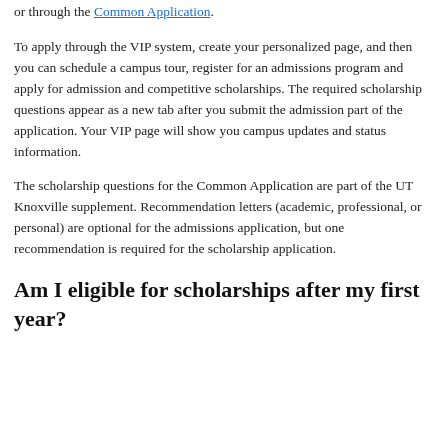or through the Common Application.
To apply through the VIP system, create your personalized page, and then you can schedule a campus tour, register for an admissions program and apply for admission and competitive scholarships. The required scholarship questions appear as a new tab after you submit the admission part of the application. Your VIP page will show you campus updates and status information.
The scholarship questions for the Common Application are part of the UT Knoxville supplement. Recommendation letters (academic, professional, or personal) are optional for the admissions application, but one recommendation is required for the scholarship application.
Am I eligible for scholarships after my first year?